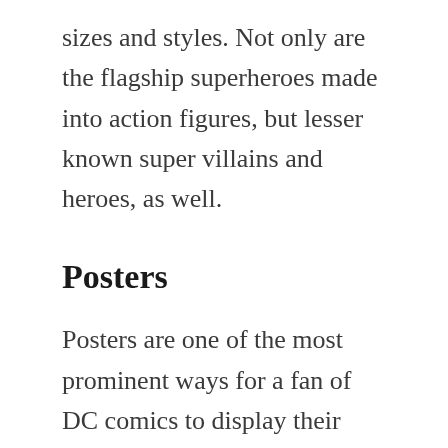sizes and styles. Not only are the flagship superheroes made into action figures, but lesser known super villains and heroes, as well.
Posters
Posters are one of the most prominent ways for a fan of DC comics to display their passion. Posters range in size from 12 x 24 inches, or less, to life size depictions of DC characters. Depending on the specific interests